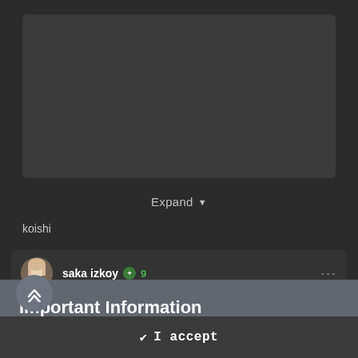[Figure (screenshot): Dark UI background with an inner dark card area]
Expand
koishi
[Figure (screenshot): Comment card with avatar of saka izkoy, green badge with +9, and three-dot menu]
Important Information
We have placed cookies on your device to help make this website better. You can adjust your cookie settings, otherwise we'll assume you're okay to continue.
✔  I accept